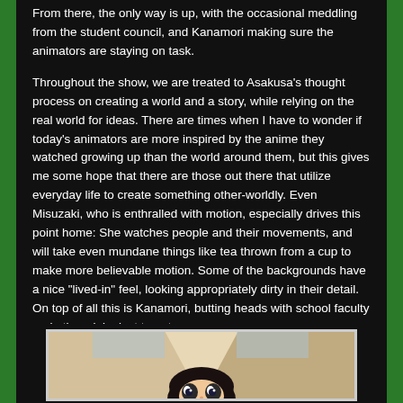From there, the only way is up, with the occasional meddling from the student council, and Kanamori making sure the animators are staying on task.
Throughout the show, we are treated to Asakusa's thought process on creating a world and a story, while relying on the real world for ideas. There are times when I have to wonder if today's animators are more inspired by the anime they watched growing up than the world around them, but this gives me some hope that there are those out there that utilize everyday life to create something other-worldly. Even Misuzaki, who is enthralled with motion, especially drives this point home: She watches people and their movements, and will take even mundane things like tea thrown from a cup to make more believable motion. Some of the backgrounds have a nice “lived-in” feel, looking appropriately dirty in their detail. On top of all this is Kanamori, butting heads with school faculty and other clubs just to get more money.
[Figure (illustration): Partial view of an anime character illustration, showing the top of a character's head/face from a scene in the show being reviewed.]